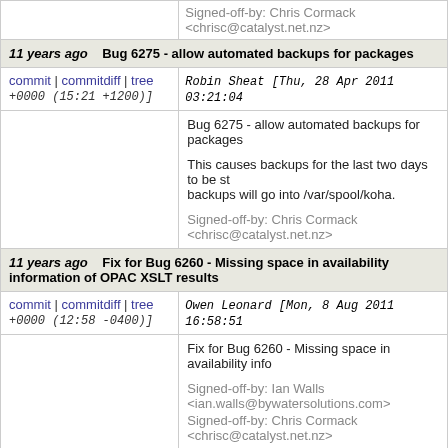Signed-off-by: Chris Cormack <chrisc@catalyst.net.nz>
11 years ago  Bug 6275 - allow automated backups for packages
commit | commitdiff | tree  Robin Sheat [Thu, 28 Apr 2011 03:21:04 +0000 (15:21 +1200)]
Bug 6275 - allow automated backups for packages

This causes backups for the last two days to be st... backups will go into /var/spool/koha.

Signed-off-by: Chris Cormack <chrisc@catalyst.net.nz>
11 years ago  Fix for Bug 6260 - Missing space in availability information of OPAC XSLT results
commit | commitdiff | tree  Owen Leonard [Mon, 8 Aug 2011 16:58:51 +0000 (12:58 -0400)]
Fix for Bug 6260 - Missing space in availability info...

Signed-off-by: Ian Walls <ian.walls@bywatersolutions.com>
Signed-off-by: Chris Cormack <chrisc@catalyst.net.nz>
11 years ago  Bug 6235 : Corrects the behaviour of the